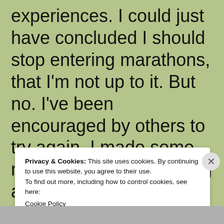experiences. I could just have concluded I should stop entering marathons, that I'm not up to it. But no. I've been encouraged by others to try again. I made some mistakes with my training and I went out too fast in the early part of the race. Next time I will get the
Privacy & Cookies: This site uses cookies. By continuing to use this website, you agree to their use.
To find out more, including how to control cookies, see here:
Cookie Policy